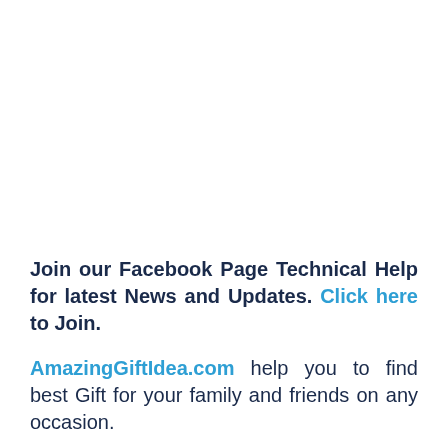Join our Facebook Page Technical Help for latest News and Updates. Click here to Join.
AmazingGiftIdea.com help you to find best Gift for your family and friends on any occasion.